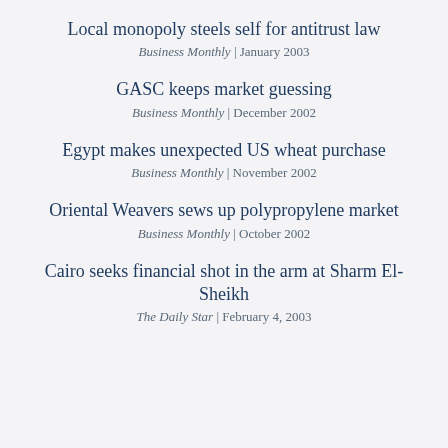Local monopoly steels self for antitrust law
Business Monthly | January 2003
GASC keeps market guessing
Business Monthly | December 2002
Egypt makes unexpected US wheat purchase
Business Monthly | November 2002
Oriental Weavers sews up polypropylene market
Business Monthly | October 2002
Cairo seeks financial shot in the arm at Sharm El-Sheikh
The Daily Star | February 4, 2003